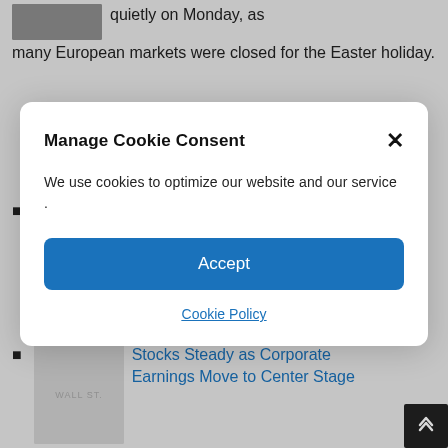quietly on Monday, as many European markets were closed for the Easter holiday.
Yield Dynamics
went into a
Stocks Steady as Corporate Earnings Move to Center Stage
Manage Cookie Consent
We use cookies to optimize our website and our service .
Accept
Cookie Policy